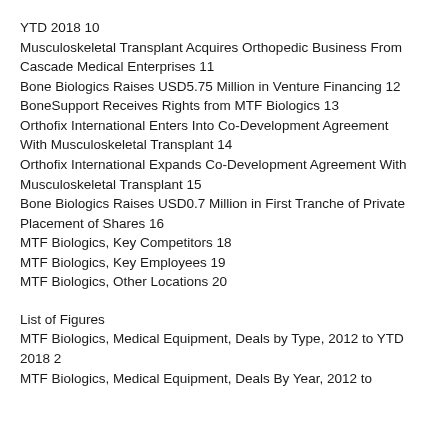YTD 2018 10
Musculoskeletal Transplant Acquires Orthopedic Business From Cascade Medical Enterprises 11
Bone Biologics Raises USD5.75 Million in Venture Financing 12
BoneSupport Receives Rights from MTF Biologics 13
Orthofix International Enters Into Co-Development Agreement With Musculoskeletal Transplant 14
Orthofix International Expands Co-Development Agreement With Musculoskeletal Transplant 15
Bone Biologics Raises USD0.7 Million in First Tranche of Private Placement of Shares 16
MTF Biologics, Key Competitors 18
MTF Biologics, Key Employees 19
MTF Biologics, Other Locations 20
List of Figures
MTF Biologics, Medical Equipment, Deals by Type, 2012 to YTD 2018 2
MTF Biologics, Medical Equipment, Deals By Year, 2012 to